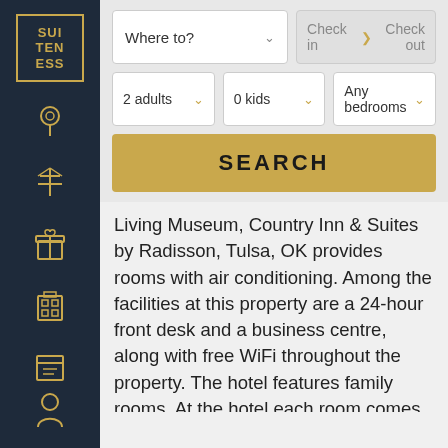[Figure (logo): Suiteness logo: white text on dark navy background with gold border, letters SUI TEN ESS]
[Figure (screenshot): Hotel booking search UI with fields: Where to dropdown, Check in, Check out, 2 adults, 0 kids, Any bedrooms, and a SEARCH button]
Living Museum, Country Inn & Suites by Radisson, Tulsa, OK provides rooms with air conditioning. Among the facilities at this property are a 24-hour front desk and a business centre, along with free WiFi throughout the property. The hotel features family rooms. At the hotel each room comes with a desk, a flat-screen TV and a private bathroom. An American breakfast is available daily at Country Inn & Suites by Radisson. The accommodation offers a sun terrace. Skelly Stadium Hurricane is 10 km from Country Inn & Suites by Radisson, Tulsa, OK, while QuikTrip